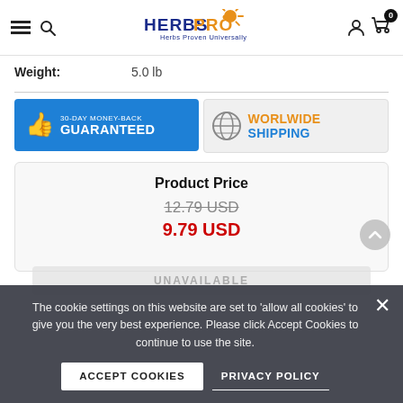HerbsPro - Herbs Proven Universally
Weight: 5.0 lb
[Figure (infographic): 30-Day Money-Back Guaranteed badge (blue background with thumbs up icon)]
[Figure (infographic): Worldwide Shipping badge (globe icon, orange and blue text)]
Product Price
12.79 USD (strikethrough original price)
9.79 USD (sale price in red)
UNAVAILABLE
The cookie settings on this website are set to 'allow all cookies' to give you the very best experience. Please click Accept Cookies to continue to use the site.
ACCEPT COOKIES
PRIVACY POLICY